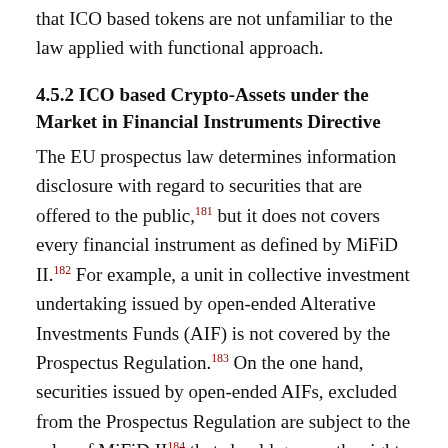that ICO based tokens are not unfamiliar to the law applied with functional approach.
4.5.2 ICO based Crypto-Assets under the Market in Financial Instruments Directive
The EU prospectus law determines information disclosure with regard to securities that are offered to the public,181 but it does not covers every financial instrument as defined by MiFiD II.182 For example, a unit in collective investment undertaking issued by open-ended Alterative Investments Funds (AIF) is not covered by the Prospectus Regulation.183 On the one hand, securities issued by open-ended AIFs, excluded from the Prospectus Regulation are subject to the rules of MiFiD II184 that should govern the rights and duties of the investors vis-à-vis Alternative Investment Fund